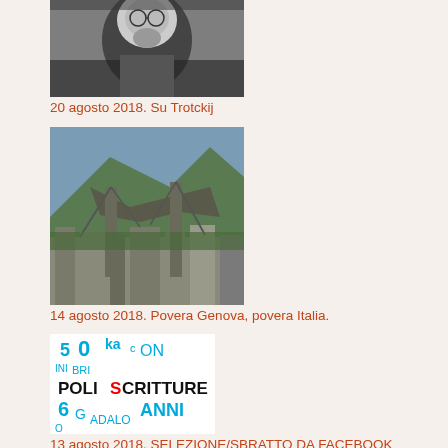[Figure (photo): Black and white close-up photograph of an elderly man with glasses and a beard, looking upward]
20 agosto 2018. Su Trotckij
[Figure (photo): Color photograph of a collapsed bridge (Ponte Morandi) in Genova with a mountain and city buildings in the background]
14 agosto 2018. Povera Genova, povera Italia.
[Figure (logo): Poliscritture logo with colorful typographic design showing '50' and various letters, with 'POLISCRITTURE' text in black]
13 agosto 2018. SELEZIONE/SBRATTO DA FACEBOOK